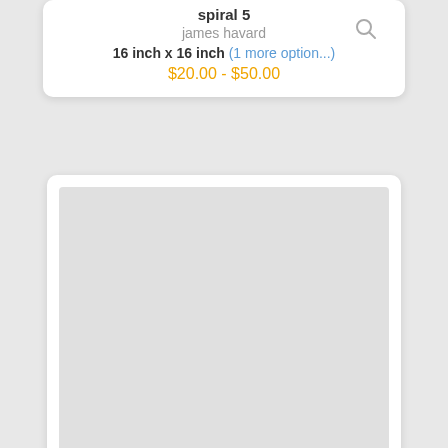spiral 5
james havard
16 inch x 16 inch (1 more option...)
$20.00 - $50.00
[Figure (photo): Product image placeholder - large light gray square]
spiral 6